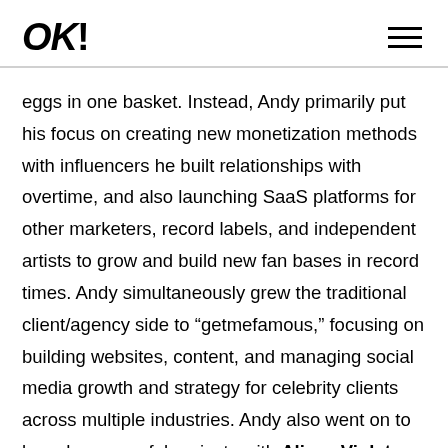OK!
eggs in one basket. Instead, Andy primarily put his focus on creating new monetization methods with influencers he built relationships with overtime, and also launching SaaS platforms for other marketers, record labels, and independent artists to grow and build new fan bases in record times. Andy simultaneously grew the traditional client/agency side to “getmefamous,” focusing on building websites, content, and managing social media growth and strategy for celebrity clients across multiple industries. Andy also went on to launch successful projects with Alissa Violet and Bella